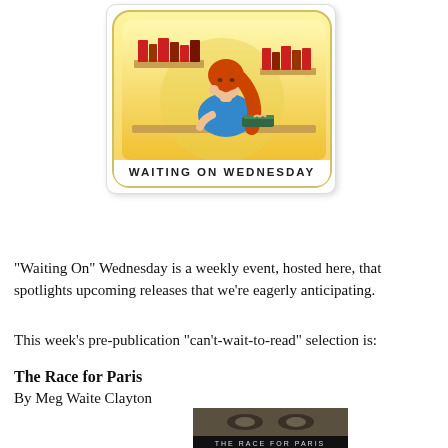[Figure (illustration): Waiting On Wednesday logo: a cartoon illustration of a red-haired woman in a blue dress leaning on a desk with books, with bookshelves in the background on a yellow gradient background with rounded border, and text 'WAITING ON WEDNESDAY' below.]
"Waiting On" Wednesday is a weekly event, hosted here, that spotlights upcoming releases that we're eagerly anticipating.
This week's pre-publication "can't-wait-to-read" selection is:
The Race for Paris
By Meg Waite Clayton
[Figure (photo): Book cover of 'The Race for Paris' showing a close-up black and white photo of a woman's face with the title text at the bottom.]